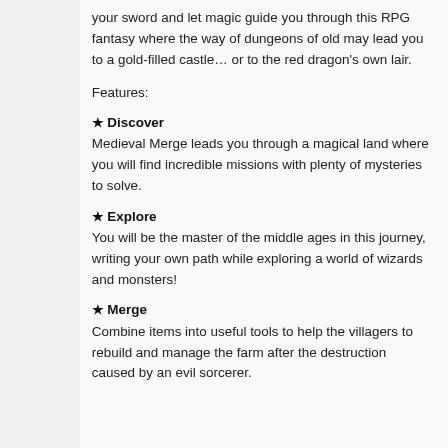your sword and let magic guide you through this RPG fantasy where the way of dungeons of old may lead you to a gold-filled castle… or to the red dragon's own lair.
Features:
★ Discover
Medieval Merge leads you through a magical land where you will find incredible missions with plenty of mysteries to solve.
★ Explore
You will be the master of the middle ages in this journey, writing your own path while exploring a world of wizards and monsters!
★ Merge
Combine items into useful tools to help the villagers to rebuild and manage the farm after the destruction caused by an evil sorcerer.